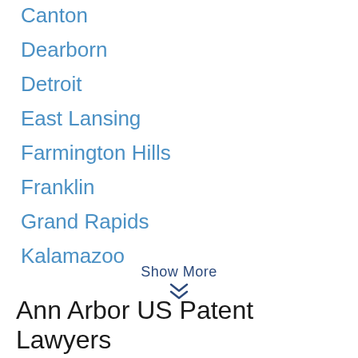Canton
Dearborn
Detroit
East Lansing
Farmington Hills
Franklin
Grand Rapids
Kalamazoo
Show More
Ann Arbor US Patent Lawyers